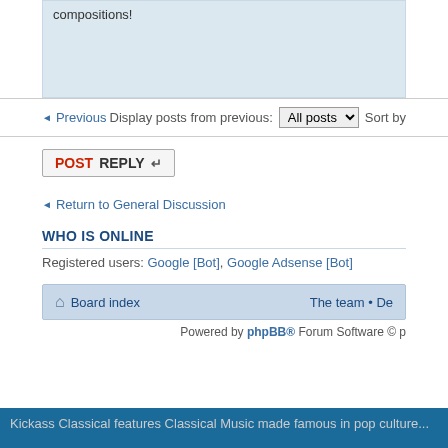compositions!
Display posts from previous: All posts  Sort by
← Previous
POSTREPLY ↵
← Return to General Discussion
WHO IS ONLINE
Registered users: Google [Bot], Google Adsense [Bot]
⌂ Board index    The team • De
Powered by phpBB® Forum Software © p
Kickass Classical features Classical Music made famous in pop culture...